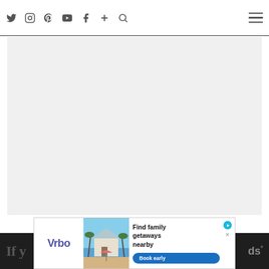Navigation bar with social icons: Twitter, Instagram, Pinterest, YouTube, Facebook, Plus, Search, and hamburger menu
[Figure (photo): Large light gray image placeholder area]
[Figure (screenshot): Advertisement banner for Vrbo: Find family getaways nearby. Book early button. Shows beach house photo.]
If y... ds